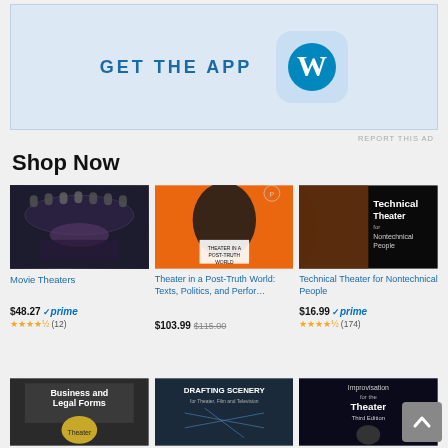[Figure (illustration): App advertisement banner with 'GET THE APP' text in bold blue letters and WordPress (W) logo in blue circle on light blue rounded square background]
REPORT THIS AD
Shop Now
[Figure (photo): Book cover: Movie Theaters - interior of an ornate movie theater with large overhead lighting rigs]
Movie Theaters
$48.27 prime (12 reviews, 4.5 stars)
[Figure (photo): Book cover: Theater in a Post-Truth World: Texts, Politics, and Performance - orange background with silhouette figure]
Theater in a Post-Truth World: Texts, Politics, and Perfor…
$103.99 $115.00
[Figure (photo): Book cover: Technical Theater for Nontechnical People - black cover with theatrical curtain and text]
Technical Theater for Nontechnical People
$16.99 prime (174 reviews, 4.5 stars)
[Figure (photo): Book cover: Business and Legal Forms for Theater - dark cover with golden coin/medal]
[Figure (photo): Book cover: Drafting Scenery for Theater, Film and Television - dark blue cover with technical diagram]
[Figure (photo): Book cover: Improvisation for the Theater, Third Edition - dark cover with figure and text]